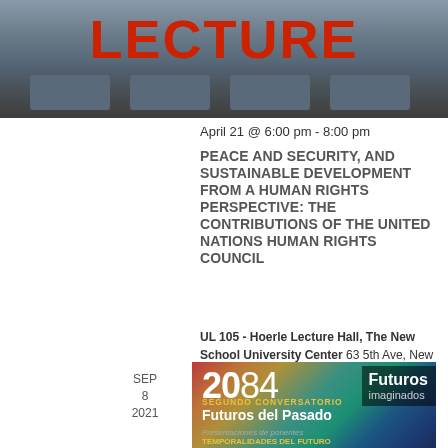[Figure (photo): Photo of a lecture hall/classroom with 'LECTURE' text overlaid in large red bold letters]
April 21 @ 6:00 pm - 8:00 pm
PEACE AND SECURITY, AND SUSTAINABLE DEVELOPMENT FROM A HUMAN RIGHTS PERSPECTIVE: THE CONTRIBUTIONS OF THE UNITED NATIONS HUMAN RIGHTS COUNCIL
UL 105 - Hoerle Lecture Hall, The New School University Center 63 5th Ave, New York
SEP 8 2021
[Figure (illustration): Colorful gradient promotional image for '2084 Futuros imaginados' event. Shows large text '2084 Futuros imaginados', 'SEGUNDO CONVERSATORIO Futuros del Pasado', 'Presentaciones de ponentes TEMPORALIDADES DEL FUTURO' on a colorful background.]